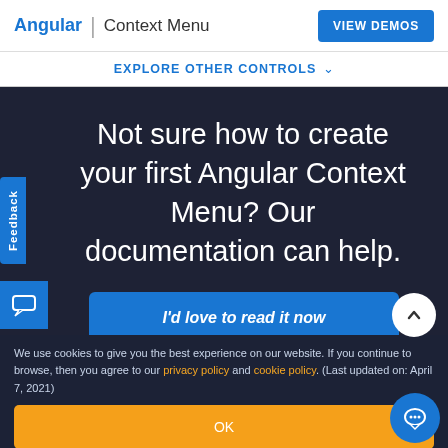Angular | Context Menu
EXPLORE OTHER CONTROLS
Not sure how to create your first Angular Context Menu? Our documentation can help.
I'd love to read it now
We use cookies to give you the best experience on our website. If you continue to browse, then you agree to our privacy policy and cookie policy. (Last updated on: April 7, 2021)
OK
Feedback